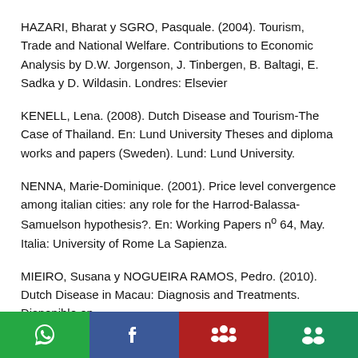HAZARI, Bharat y SGRO, Pasquale. (2004). Tourism, Trade and National Welfare. Contributions to Economic Analysis by D.W. Jorgenson, J. Tinbergen, B. Baltagi, E. Sadka y D. Wildasin. Londres: Elsevier
KENELL, Lena. (2008). Dutch Disease and Tourism-The Case of Thailand. En: Lund University Theses and diploma works and papers (Sweden). Lund: Lund University.
NENNA, Marie-Dominique. (2001). Price level convergence among italian cities: any role for the Harrod-Balassa-Samuelson hypothesis?. En: Working Papers nº 64, May. Italia: University of Rome La Sapienza.
MIEIRO, Susana y NOGUEIRA RAMOS, Pedro. (2010). Dutch Disease in Macau: Diagnosis and Treatments. Disponible en